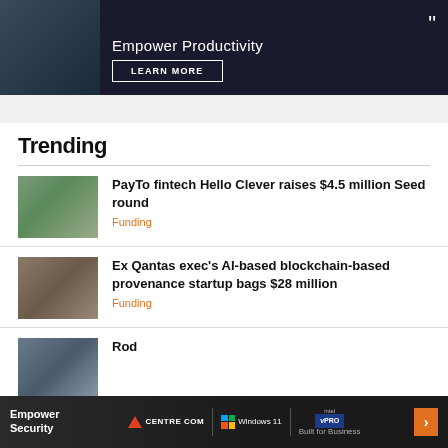[Figure (photo): Dark advertisement banner showing person with tablet, text 'Empower Productivity' with LEARN MORE button]
Trending
[Figure (photo): Two people standing, man and woman, professional photo]
PayTo fintech Hello Clever raises $4.5 million Seed round
Funding
[Figure (photo): Woman in white blazer, professional photo]
Ex Qantas exec's AI-based blockchain-based provenance startup bags $28 million
Funding
[Figure (photo): Third trending article photo, partially visible]
Rod
[Figure (screenshot): Bottom advertisement: Empower Security - Centre COM, Windows 11, Intel vPRO Built for Business]